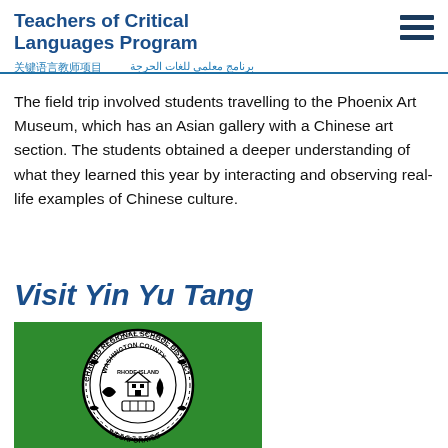Teachers of Critical Languages Program / 关键语言教师项目 / برنامج معلمي للغات الحرجة
The field trip involved students travelling to the Phoenix Art Museum, which has an Asian gallery with a Chinese art section. The students obtained a deeper understanding of what they learned this year by interacting and observing real-life examples of Chinese culture.
Visit Yin Yu Tang
[Figure (logo): Chariho Regional School District seal on green background — circular black and white seal with text 'CHARIHO REGIONAL SCHOOL DISTRICT', 'WASHINGTON COUNTY', 'RHODE ISLAND', 'INCORPORATED', with a central emblem featuring a house, books, and decorative border]